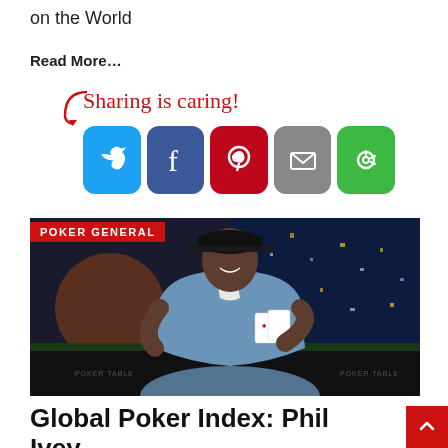on the World
Read More…
[Figure (infographic): Sharing is caring social media buttons: Twitter, Facebook, Pinterest, Email, Share]
[Figure (photo): Phil Ivey sitting at a poker table holding cards with poker chips stacked in front, wearing a blue hoodie and black cap, with a city skyline backdrop. Label: POKER GENERAL]
Global Poker Index: Phil Ivey